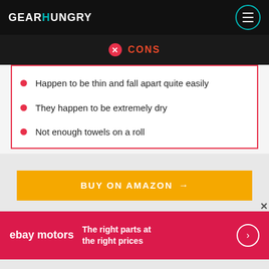GEARHUNGRY
CONS
Happen to be thin and fall apart quite easily
They happen to be extremely dry
Not enough towels on a roll
BUY ON AMAZON →
[Figure (other): eBay Motors advertisement banner: 'The right parts at the right prices']